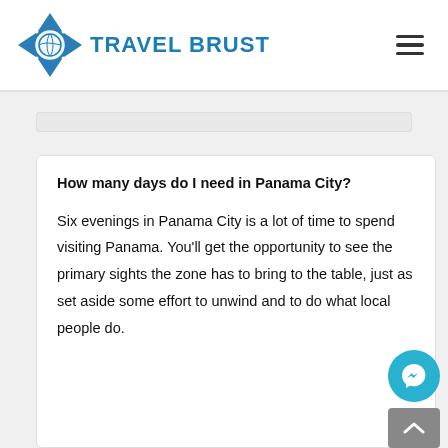TRAVEL BRUST
How many days do I need in Panama City?
Six evenings in Panama City is a lot of time to spend visiting Panama. You'll get the opportunity to see the primary sights the zone has to bring to the table, just as set aside some effort to unwind and to do what local people do.